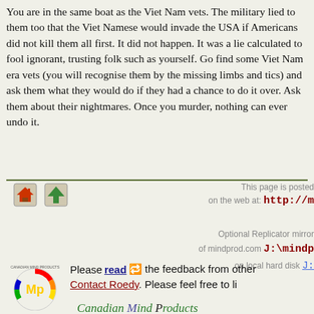You are in the same boat as the Viet Nam vets. The military lied to them too that the Viet Namese would invade the USA if Americans did not kill them all first. It did not happen. It was a lie calculated to fool ignorant, trusting folk such as yourself. Go find some Viet Nam era vets (you will recognise them by the missing limbs and tics) and ask them what they would do if they had a chance to do it over. Ask them about their nightmares. Once you murder, nothing can ever undo it.
[Figure (illustration): Home icon (house) and Up arrow icon for navigation]
This page is posted on the web at: http://m
Optional Replicator mirror of mindprod.com J:\mindp on local hard disk J:
[Figure (logo): Canadian Mind Products logo - circular colorful design with Mp letters]
Please read the feedback from other Contact Roedy. Please feel free to li
Canadian Mind Products